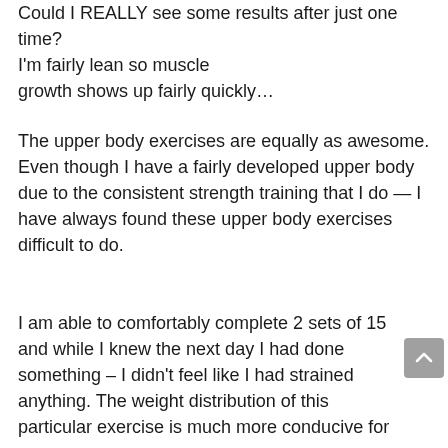Could I REALLY see some results after just one time? I'm fairly lean so muscle growth shows up fairly quickly…
The upper body exercises are equally as awesome. Even though I have a fairly developed upper body due to the consistent strength training that I do — I have always found these upper body exercises difficult to do.
I am able to comfortably complete 2 sets of 15 and while I knew the next day I had done something – I didn't feel like I had strained anything. The weight distribution of this particular exercise is much more conducive for my